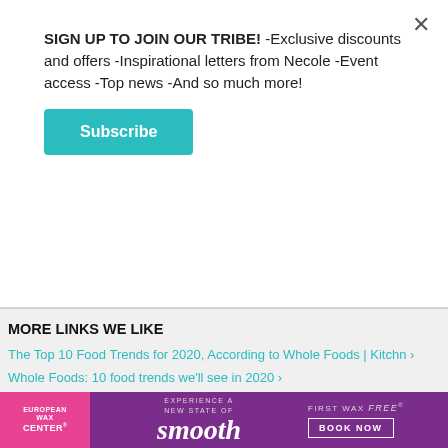SIGN UP TO JOIN OUR TRIBE! -Exclusive discounts and offers -Inspirational letters from Necole -Event access -Top news -And so much more!
Subscribe
MORE LINKS WE LIKE
The Top 10 Food Trends for 2020, According to Whole Foods | Kitchn ›
Whole Foods: 10 food trends we'll see in 2020 ›
Five 2020 Food Trends to Look for from Boston-Based Food Experts ›
Benchmark Hospitality Forecasts 2020 Food Trends | Special Events ›
Our Top 10 Food Trends for 2020 | Whole Foods Market ›
Food Trends for 2020 from the Fancy Food Show | Tara Teaspoon ›
Top food trends for 2020, according to Whole Foods ›
[Figure (illustration): European Wax Center advertisement banner with purple background, pink left panel, and 'smooth' text. Includes 'FIRST WAX free BOOK NOW' call to action.]